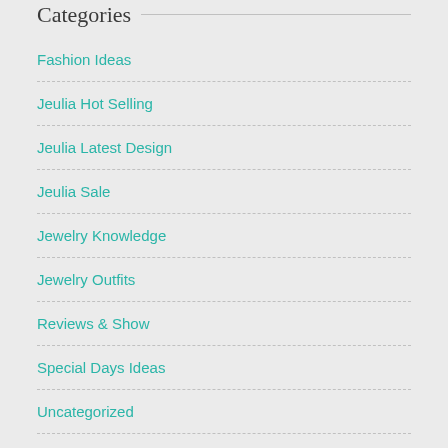Categories
Fashion Ideas
Jeulia Hot Selling
Jeulia Latest Design
Jeulia Sale
Jewelry Knowledge
Jewelry Outfits
Reviews & Show
Special Days Ideas
Uncategorized